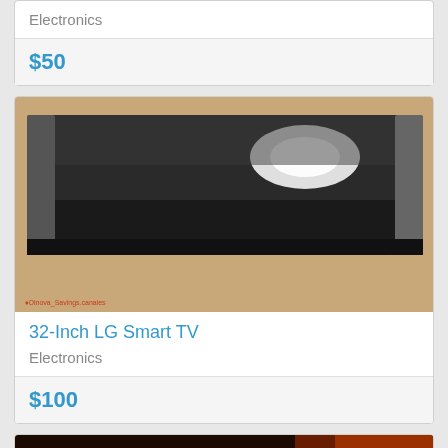Electronics
$50
[Figure (photo): Photo of a dark rectangular soundbar or display panel with reflective surface, mounted on a wall with a cord visible, with a small red watermark text at bottom left]
32-Inch LG Smart TV
Electronics
$100
[Figure (photo): Partial photo of what appears to be a tablet or book with printed text visible, on a dark surface with orange/red tones]